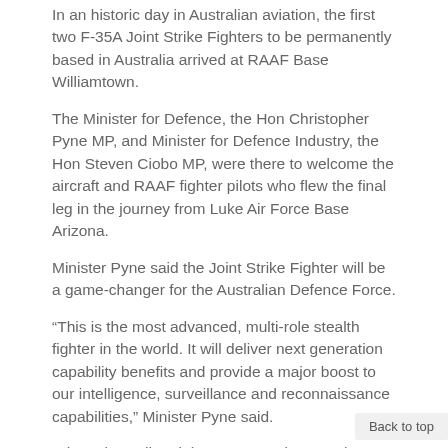In an historic day in Australian aviation, the first two F-35A Joint Strike Fighters to be permanently based in Australia arrived at RAAF Base Williamtown.
The Minister for Defence, the Hon Christopher Pyne MP, and Minister for Defence Industry, the Hon Steven Ciobo MP, were there to welcome the aircraft and RAAF fighter pilots who flew the final leg in the journey from Luke Air Force Base Arizona.
Minister Pyne said the Joint Strike Fighter will be a game-changer for the Australian Defence Force.
“This is the most advanced, multi-role stealth fighter in the world. It will deliver next generation capability benefits and provide a major boost to our intelligence, surveillance and reconnaissance capabilities,” Minister Pyne said.
“The Joint Strike Fighter can get closer to threats undetected; find, engage and jam electronic signals from targets; and share information with other platforms”
Back to top